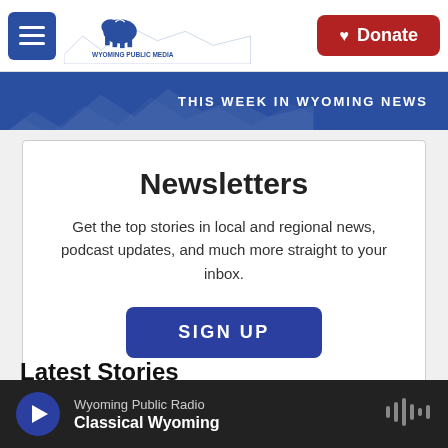[Figure (screenshot): Wyoming Public Media logo with bison silhouette and mountain background]
[Figure (screenshot): Red Donate button with heart icon]
[Figure (screenshot): Blue banner with mountain silhouette and text THIS WEEK IN WYOMING NEWS]
Newsletters
Get the top stories in local and regional news, podcast updates, and much more straight to your inbox.
[Figure (screenshot): SIGN UP button in navy blue]
Latest Stories
[Figure (screenshot): Audio player bar: Wyoming Public Radio - Classical Wyoming with play button and waveform icon]